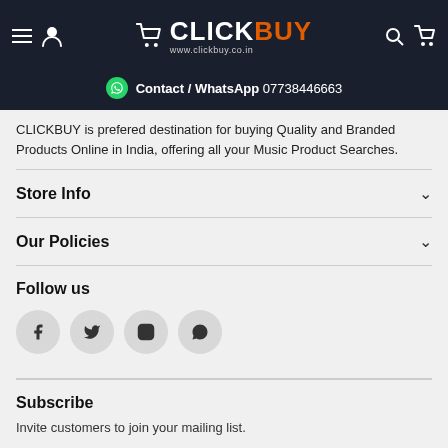CLICKBUY www.clickbuy.co.in | Contact / WhatsApp 07738446663
CLICKBUY is prefered destination for buying Quality and Branded Products Online in India, offering all your Music Product Searches.
Store Info
Our Policies
Follow us
[Figure (illustration): Social media icons: Facebook, Twitter, Instagram, WhatsApp]
Subscribe
Invite customers to join your mailing list.